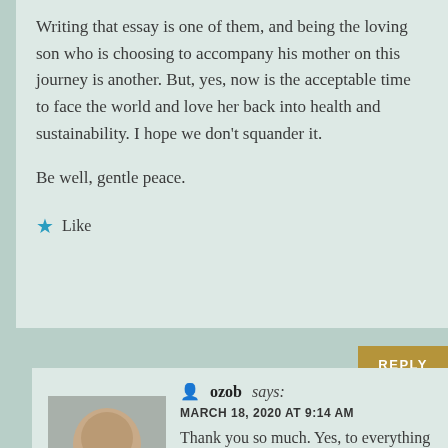Writing that essay is one of them, and being the loving son who is choosing to accompany his mother on this journey is another. But, yes, now is the acceptable time to face the world and love her back into health and sustainability. I hope we don't squander it.

Be well, gentle peace.
★ Like
ozob says:
MARCH 18, 2020 AT 9:14 AM
Thank you so much. Yes, to everything you said. And know that I will offer to share with you before making my words public so you can